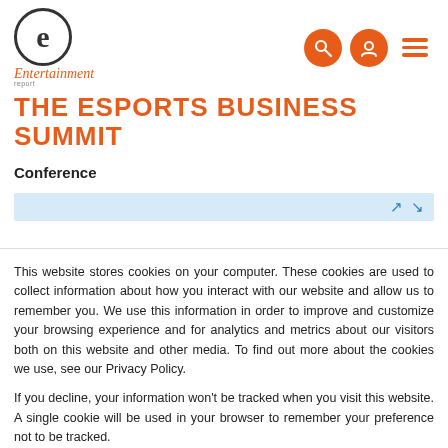Entertainment Report — THE ESPORTS BUSINESS SUMMIT
THE ESPORTS BUSINESS SUMMIT
Conference
[Figure (other): Light blue advertisement banner with navigation arrows]
This website stores cookies on your computer. These cookies are used to collect information about how you interact with our website and allow us to remember you. We use this information in order to improve and customize your browsing experience and for analytics and metrics about our visitors both on this website and other media. To find out more about the cookies we use, see our Privacy Policy.
If you decline, your information won't be tracked when you visit this website. A single cookie will be used in your browser to remember your preference not to be tracked.